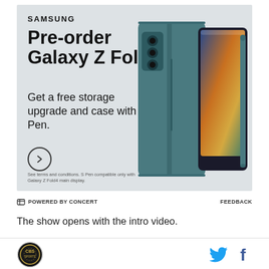[Figure (photo): Samsung Galaxy Z Fold4 advertisement with product image showing teal/green foldable phone with S Pen case and stylus]
POWERED BY CONCERT   FEEDBACK
The show opens with the intro video.
[Figure (logo): Circular CSB logo badge in bottom left]
[Figure (other): Twitter and Facebook social icons in bottom right]